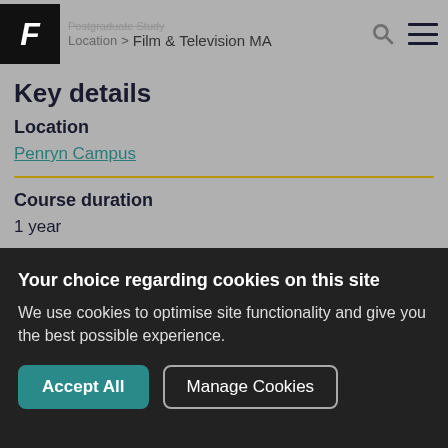F | Postgraduate Study > Film & Television MA
Key details
Location
Penryn Campus
Course duration
1 year
Attendance
Full-time
Your choice regarding cookies on this site
We use cookies to optimise site functionality and give you the best possible experience.